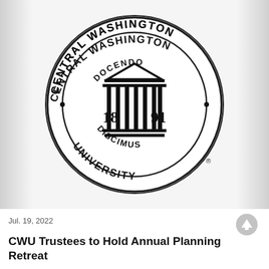[Figure (logo): Central Washington University circular seal/logo in black and white. Features a classical building with columns and the text 'CENTRAL WASHINGTON UNIVERSITY' around the border, 'DOCENDO' at the top inside, 'DISCIMUS' at the bottom inside, and '1891' flanking the building columns. Registered trademark symbol at bottom right.]
Jul. 19, 2022
CWU Trustees to Hold Annual Planning Retreat